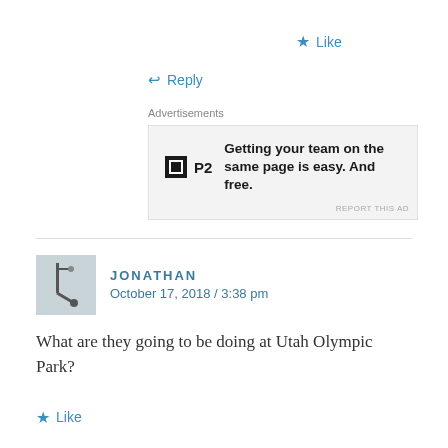Like
Reply
Advertisements
[Figure (other): P2 advertisement banner: logo with black square icon and 'P2' text, with bold text 'Getting your team on the same page is easy. And free.']
JONATHAN
October 17, 2018 / 3:38 pm
What are they going to be doing at Utah Olympic Park?
Like
Reply
PETER LANDSMAN